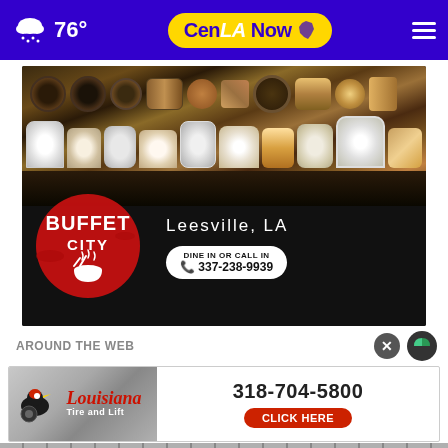76° | CenLA Now | Navigation menu
[Figure (photo): Buffet City advertisement showing a buffet spread of sushi and desserts on top, with Buffet City logo (red circle with white text and ramen bowl icon), 'Leesville, LA' text, and 'DINE IN OR CALL IN 337-238-9939' badge on black background]
AROUND THE WEB
[Figure (logo): Louisiana Tire and Lift advertisement with phone number 318-704-5800 and CLICK HERE button in red, showing tire/vehicle graphic on gray background]